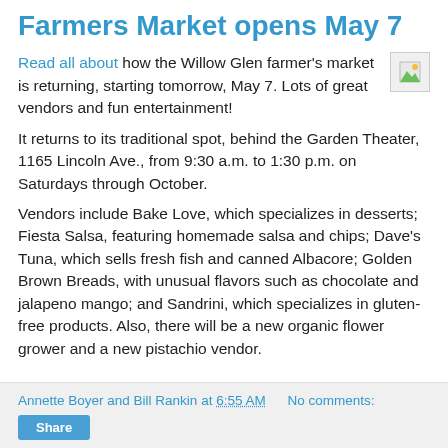Farmers Market opens May 7
Read all about how the Willow Glen farmer's market is returning, starting tomorrow, May 7. Lots of great vendors and fun entertainment!
It returns to its traditional spot, behind the Garden Theater, 1165 Lincoln Ave., from 9:30 a.m. to 1:30 p.m. on Saturdays through October.
Vendors include Bake Love, which specializes in desserts; Fiesta Salsa, featuring homemade salsa and chips; Dave's Tuna, which sells fresh fish and canned Albacore; Golden Brown Breads, with unusual flavors such as chocolate and jalapeno mango; and Sandrini, which specializes in gluten-free products. Also, there will be a new organic flower grower and a new pistachio vendor.
Annette Boyer and Bill Rankin at 6:55 AM   No comments:   Share